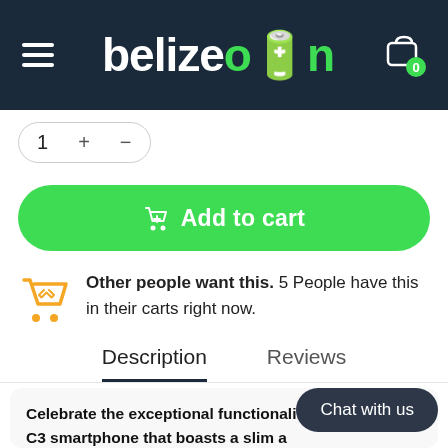belizeon — navigation header with hamburger menu and cart icon (0 items)
1  +  -
Add to cart
Other people want this. 5 People have this in their carts right now.
Description  Reviews
Celebrate the exceptional functionalities of this CO C3 smartphone that boasts a slim a... Packed with stellar features, it come... 2MP + 2MP rear camera that will stun you every time
Chat with us